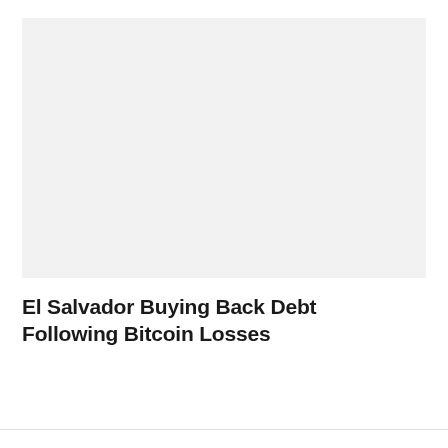[Figure (other): Large light grey rectangular image placeholder area]
El Salvador Buying Back Debt Following Bitcoin Losses